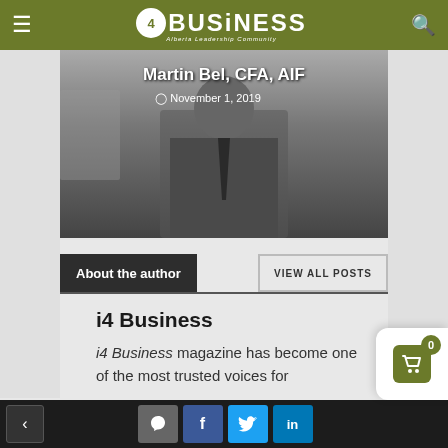i4 BUSINESS — Alberta Leadership Community
[Figure (photo): Hero image showing a man in a suit with name overlay: Martin Bel, CFA, AIF and date November 1, 2019]
About the author
i4 Business
i4 Business magazine has become one of the most trusted voices for
Social sharing bar with comment, Facebook, Twitter, LinkedIn buttons